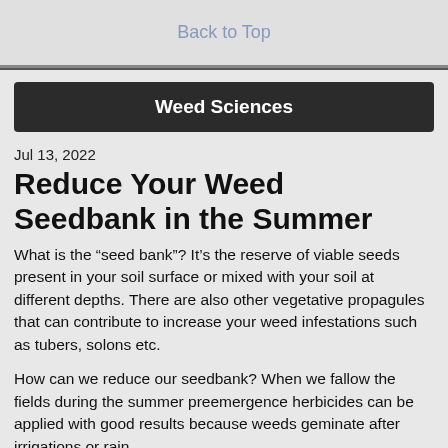Back to Top
Weed Sciences
Jul 13, 2022
Reduce Your Weed Seedbank in the Summer
What is the “seed bank”? It’s the reserve of viable seeds present in your soil surface or mixed with your soil at different depths. There are also other vegetative propagules that can contribute to increase your weed infestations such as tubers, solons etc.
How can we reduce our seedbank? When we fallow the fields during the summer preemergence herbicides can be applied with good results because weeds geminate after irrigations or rain.